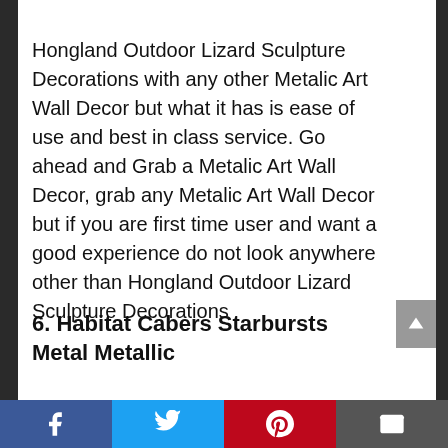Hongland Outdoor Lizard Sculpture Decorations with any other Metalic Art Wall Decor but what it has is ease of use and best in class service. Go ahead and Grab a Metalic Art Wall Decor, grab any Metalic Art Wall Decor but if you are first time user and want a good experience do not look anywhere other than Hongland Outdoor Lizard Sculpture Decorations
6. Habitat Cabers Starbursts Metal Metallic
Facebook | Twitter | Pinterest | Email